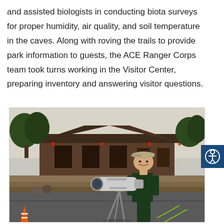and assisted biologists in conducting biota surveys for proper humidity, air quality, and soil temperature in the caves. Along with roving the trails to provide park information to guests, the ACE Ranger Corps team took turns working in the Visitor Center, preparing inventory and answering visitor questions.
[Figure (photo): A person in a dark uniform and cap standing next to a telescope/spotting scope on a tripod in a parking lot, with a rustic stone and wood building and trees visible in the background at dusk.]